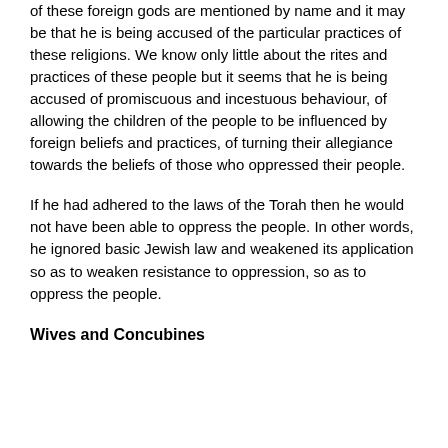of these foreign gods are mentioned by name and it may be that he is being accused of the particular practices of these religions. We know only little about the rites and practices of these people but it seems that he is being accused of promiscuous and incestuous behaviour, of allowing the children of the people to be influenced by foreign beliefs and practices, of turning their allegiance towards the beliefs of those who oppressed their people.
If he had adhered to the laws of the Torah then he would not have been able to oppress the people. In other words, he ignored basic Jewish law and weakened its application so as to weaken resistance to oppression, so as to oppress the people.
Wives and Concubines